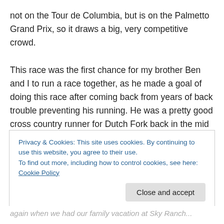not on the Tour de Columbia, but is on the Palmetto Grand Prix, so it draws a big, very competitive crowd.

This race was the first chance for my brother Ben and I to run a race together, as he made a goal of doing this race after coming back from years of back trouble preventing his running. He was a pretty good cross country runner for Dutch Fork back in the mid nineties, with a 16:45 PR I think. I'm pretty sure he could beat me then, with my grueling training regimen of quiz team practice and working on the school newspaper.  That and eating a lot.
Privacy & Cookies: This site uses cookies. By continuing to use this website, you agree to their use.
To find out more, including how to control cookies, see here: Cookie Policy
Close and accept
again when we had our family vacation at Sky Ranch...